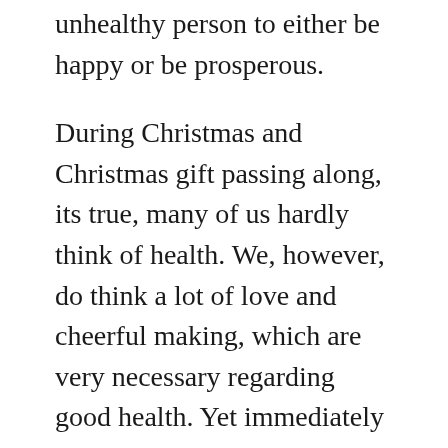unhealthy person to either be happy or be prosperous.
During Christmas and Christmas gift passing along, its true, many of us hardly think of health. We, however, do think a lot of love and cheerful making, which are very necessary regarding good health. Yet immediately after Christmas, we think a lot about health and fitness. It is so mainly because New Year follows Holiday closely and any time we think of recent Year Resolutions fitness and health is our main concern. To be able to go for walking, jogging, swimming, to play a game, to join a fitness center, to be a lot more active and nearby the nature, to take in balanced food, and many others. are a couple of the New Year Resolutions which often people make for good health and exceptional fitness.